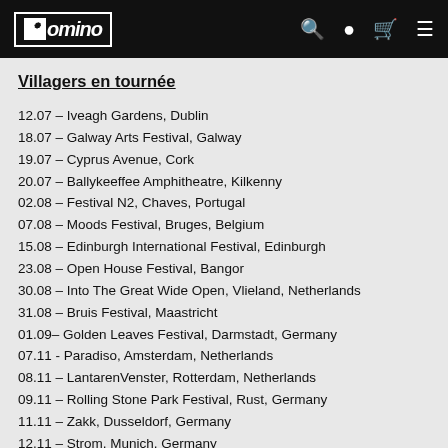Domino [logo with navigation icons: search, location, cart, menu]
Villagers en tournée
12.07 – Iveagh Gardens, Dublin
18.07 – Galway Arts Festival, Galway
19.07 – Cyprus Avenue, Cork
20.07 – Ballykeeffee Amphitheatre, Kilkenny
02.08 – Festival N2, Chaves, Portugal
07.08 – Moods Festival, Bruges, Belgium
15.08 – Edinburgh International Festival, Edinburgh
23.08 – Open House Festival, Bangor
30.08 – Into The Great Wide Open, Vlieland, Netherlands
31.08 – Bruis Festival, Maastricht
01.09– Golden Leaves Festival, Darmstadt, Germany
07.11 - Paradiso, Amsterdam, Netherlands
08.11 – LantarenVenster, Rotterdam, Netherlands
09.11 – Rolling Stone Park Festival, Rust, Germany
11.11 – Zakk, Dusseldorf, Germany
12.11 – Strom, Munich, Germany
13.11 – UT Connewitz, Leipzig, Germany